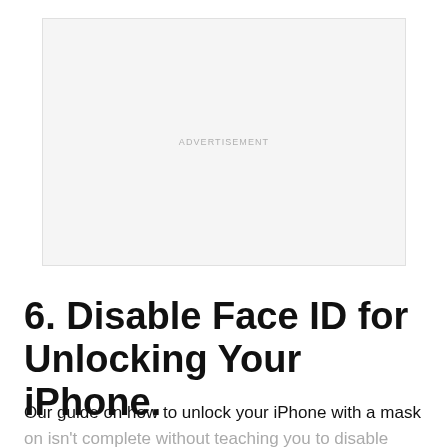[Figure (other): Advertisement placeholder box with light gray background and 'ADVERTISEMENT' label centered at top]
6. Disable Face ID for Unlocking Your iPhone.
Our guide on how to unlock your iPhone with a mask on isn't complete without teaching you to disable your Face ID. You can resort to this option if all else fails.